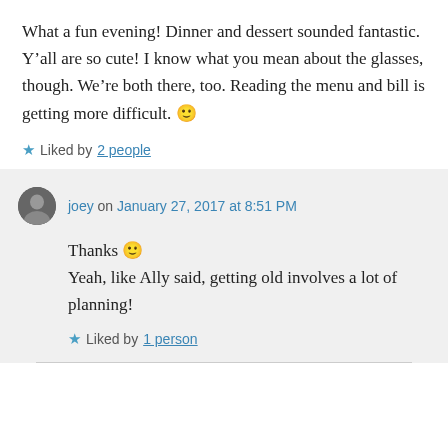What a fun evening! Dinner and dessert sounded fantastic. Y'all are so cute! I know what you mean about the glasses, though. We're both there, too. Reading the menu and bill is getting more difficult. 🙂
★ Liked by 2 people
joey on January 27, 2017 at 8:51 PM
Thanks 🙂
Yeah, like Ally said, getting old involves a lot of planning!
★ Liked by 1 person